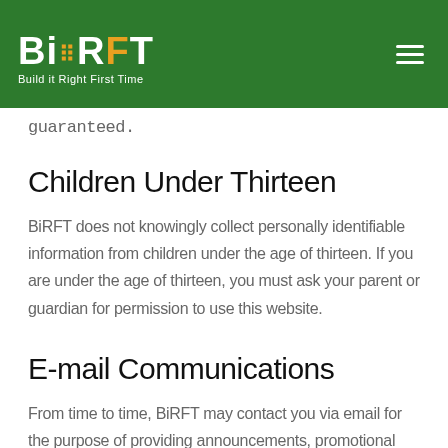BiRFT – Build it Right First Time
guaranteed.
Children Under Thirteen
BiRFT does not knowingly collect personally identifiable information from children under the age of thirteen. If you are under the age of thirteen, you must ask your parent or guardian for permission to use this website.
E-mail Communications
From time to time, BiRFT may contact you via email for the purpose of providing announcements, promotional